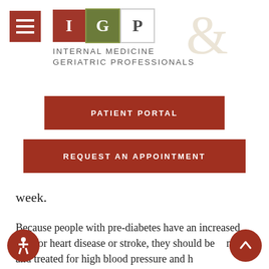[Figure (logo): IGP Internal Medicine & Geriatric Professionals logo with colored letter boxes and decorative ampersand]
PATIENT PORTAL
REQUEST AN APPOINTMENT
week.
Because people with pre-diabetes have an increased risk for heart disease or stroke, they should be screened and treated for high blood pressure and high cholesterol. Smokers should find a way to stop. No